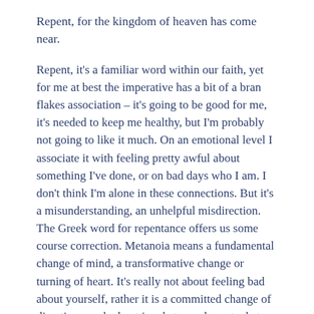Repent, for the kingdom of heaven has come near.
Repent, it's a familiar word within our faith, yet for me at best the imperative has a bit of a bran flakes association – it's going to be good for me, it's needed to keep me healthy, but I'm probably not going to like it much. On an emotional level I associate it with feeling pretty awful about something I've done, or on bad days who I am. I don't think I'm alone in these connections. But it's a misunderstanding, an unhelpful misdirection. The Greek word for repentance offers us some course correction. Metanoia means a fundamental change of mind, a transformative change or turning of heart. It's really not about feeling bad about yourself, rather it is a committed change of direction, worked out in what you do, not what you feel.
My family on my Dad's side has had a long association with the John Christ...